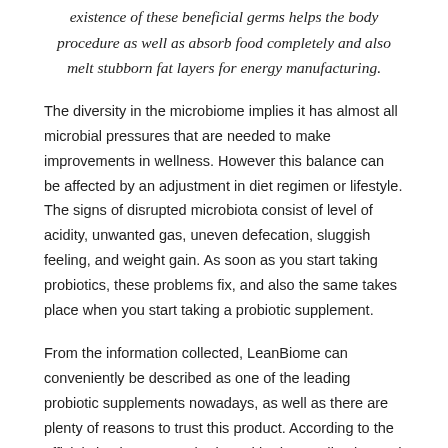existence of these beneficial germs helps the body procedure as well as absorb food completely and also melt stubborn fat layers for energy manufacturing.
The diversity in the microbiome implies it has almost all microbial pressures that are needed to make improvements in wellness. However this balance can be affected by an adjustment in diet regimen or lifestyle. The signs of disrupted microbiota consist of level of acidity, unwanted gas, uneven defecation, sluggish feeling, and weight gain. As soon as you start taking probiotics, these problems fix, and also the same takes place when you start taking a probiotic supplement.
From the information collected, LeanBiome can conveniently be described as one of the leading probiotic supplements nowadays, as well as there are plenty of reasons to trust this product. According to the official site, it manages brain and body coordination and manages the emotional and physical sides of